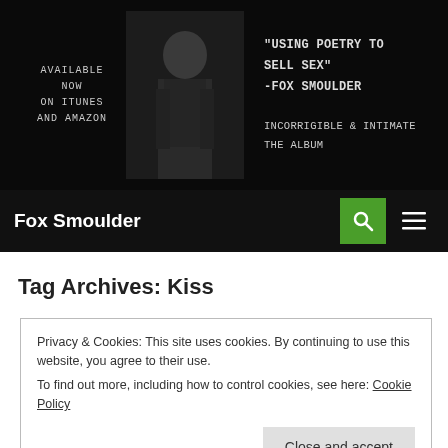[Figure (illustration): Dark promotional banner with text: 'AVAILABLE NOW ON ITUNES AND AMAZON' on the left, a photo of a woman in the center, and quote '"USING POETRY TO SELL SEX" -FOX SMOULDER / INCORRIGIBLE & INTIMATE THE ALBUM' on the right.]
Fox Smoulder
Tag Archives: Kiss
Privacy & Cookies: This site uses cookies. By continuing to use this website, you agree to their use.
To find out more, including how to control cookies, see here: Cookie Policy
Close and accept